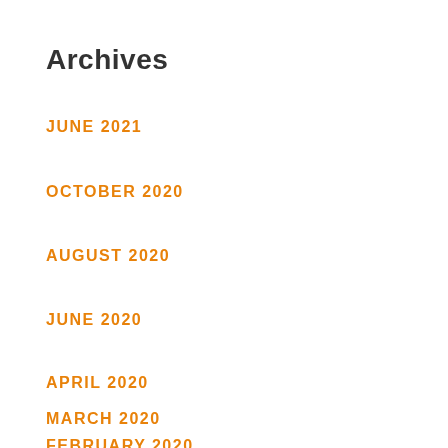Archives
JUNE 2021
OCTOBER 2020
AUGUST 2020
JUNE 2020
APRIL 2020
MARCH 2020
FEBRUARY 2020